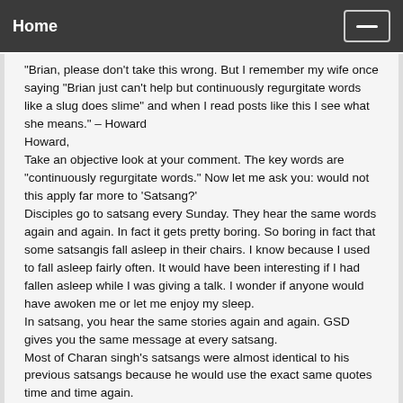Home
“Brian, please don't take this wrong. But I remember my wife once saying "Brian just can't help but continuously regurgitate words like a slug does slime" and when I read posts like this I see what she means.” – Howard
Howard,
Take an objective look at your comment. The key words are “continuously regurgitate words.” Now let me ask you: would not this apply far more to ‘Satsang?’
Disciples go to satsang every Sunday. They hear the same words again and again. In fact it gets pretty boring. So boring in fact that some satsangis fall asleep in their chairs. I know because I used to fall asleep fairly often. It would have been interesting if I had fallen asleep while I was giving a talk. I wonder if anyone would have awoken me or let me enjoy my sleep.
In satsang, you hear the same stories again and again. GSD gives you the same message at every satsang.
Most of Charan singh's satsangs were almost identical to his previous satsangs because he would use the exact same quotes time and time again.